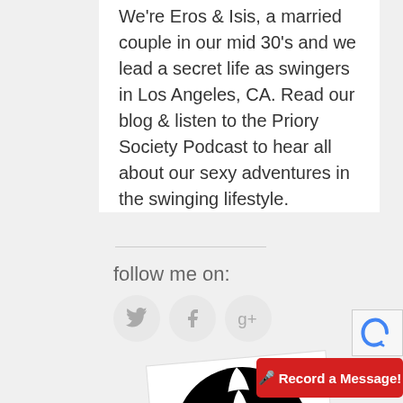We're Eros & Isis, a married couple in our mid 30's and we lead a secret life as swingers in Los Angeles, CA. Read our blog & listen to the Priory Society Podcast to hear all about our sexy adventures in the swinging lifestyle.
follow me on:
[Figure (illustration): Social media icon buttons for Twitter, Facebook, and Google+ displayed as circular grey buttons with icons]
[Figure (logo): Black and white circular logo with a cross/maltese cross design and a fleur-de-lis in the center, on a white card rotated slightly]
[Figure (other): Red 'Record a Message!' button with microphone icon in bottom right corner]